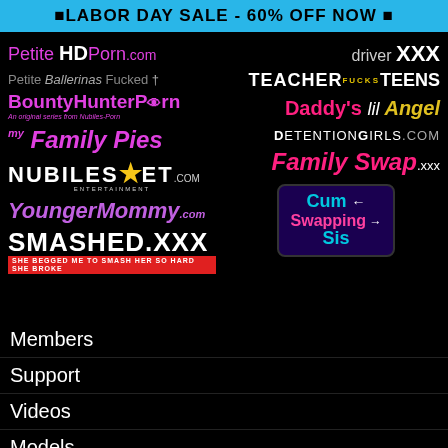🔵LABOR DAY SALE - 60% OFF NOW 🔵
[Figure (logo): Collection of adult website logos on black background including Petite HD Porn, Petite Ballerinas Fucked, BountyHunterPorn, my Family Pies, NUBILES ET, Younger Mommy, SMASHED.XXX, driver XXX, TEACHER FUCKS TEENS, Daddy's lil Angel, DetentionGirls.com, Family Swap xxx, Cum Swapping Sis]
Members
Support
Videos
Models